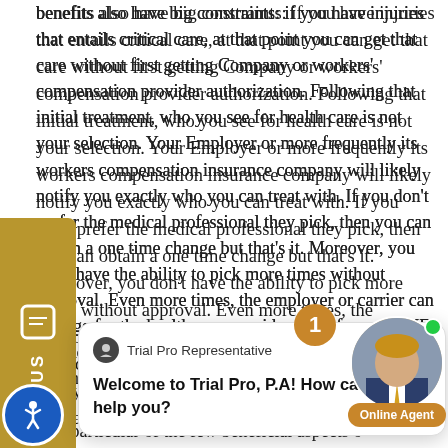benefits also have big constraints: if you have injuries that entails critical care, at that point you can get that care without first getting Company or workers' compensation provider authorization. Following that initial treatment, who you see for health care is not your selection. Your Employer or more frequently its workers compensation insurance company will likely notify you exactly who you can treat with. If you don't prefer the medical professional they pick, then you can obtain a one time change but that's it. Moreover, you don't have the ability to pick more times without approval. Even more times, the employer or carrier can arrange for the health care provider to perform an IME, or "independent medical examination" and don't have to pay for that medical doctor expense. Your health insurance will not cover it.

One particular of the few beneficial aspects of the medical care is that you don't pay for it period. Rather than a $10 copayment once you reach maximum
[Figure (other): Gold/tan colored 'TEXT US' sidebar button with phone icon on the left edge of the page]
[Figure (other): Chat popup widget from 'Trial Pro Representative' saying 'Welcome to Trial Pro, P.A! How can we help you?' with a close X button]
[Figure (other): Online agent avatar with badge showing '1', green online dot, and 'Online Agent' label in gold]
[Figure (other): Blue circular accessibility icon (wheelchair/person symbol) in bottom left corner]